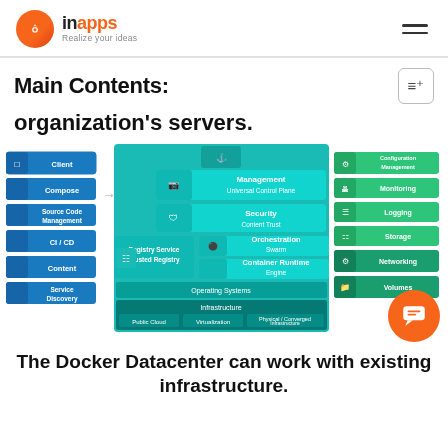inapps - Realize your ideas
Main Contents:
organization's servers.
[Figure (schematic): Docker Datacenter architecture diagram showing Client, Compose, Source Code Management, CI/CD, Content, Service Discovery on left; central panel with Management Universal Control Plane, Security Content Trust, Orchestration Swarm, Registry Service Trusted Registry, Container Runtime Engine; right panel with Configuration Management, Monitoring, Logging, Storage, Networking, Volumes; bottom shows Operating Systems and Infrastructure layers with Public Cloud, Virtualization, Physical/Converged Infrastructure]
The Docker Datacenter can work with existing infrastructure.